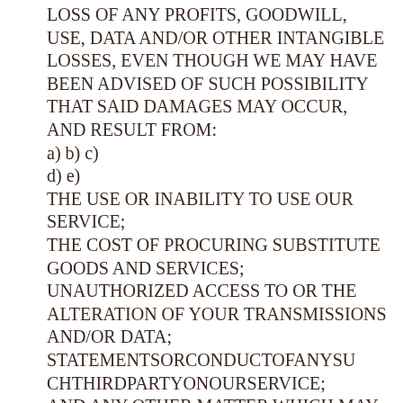LOSS OF ANY PROFITS, GOODWILL, USE, DATA AND/OR OTHER INTANGIBLE LOSSES, EVEN THOUGH WE MAY HAVE BEEN ADVISED OF SUCH POSSIBILITY THAT SAID DAMAGES MAY OCCUR, AND RESULT FROM:
a) b) c)
d) e)
THE USE OR INABILITY TO USE OUR SERVICE;
THE COST OF PROCURING SUBSTITUTE GOODS AND SERVICES;
UNAUTHORIZED ACCESS TO OR THE ALTERATION OF YOUR TRANSMISSIONS AND/OR DATA;
STATEMENTSORCONDUCTOFANYSU CHTHIRDPARTYONOURSERVICE;
AND ANY OTHER MATTER WHICH MAY BE RELATED TO OUR SERVICE.
RELEASE
In the event you have a dispute, you